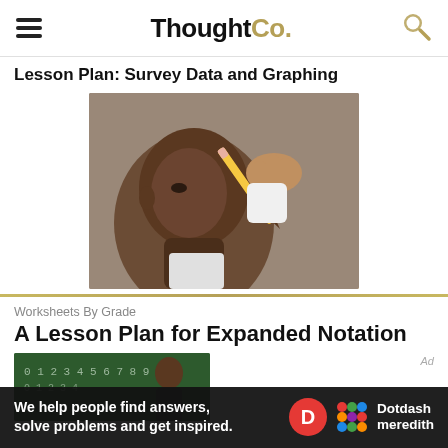ThoughtCo.
Lesson Plan: Survey Data and Graphing
[Figure (photo): A young Black boy concentrating, with a hand holding a yellow pencil near his head, in a classroom setting.]
Worksheets By Grade
A Lesson Plan for Expanded Notation
[Figure (photo): Partially visible image of a chalkboard with numbers, likely showing a math lesson.]
Ad
We help people find answers, solve problems and get inspired.